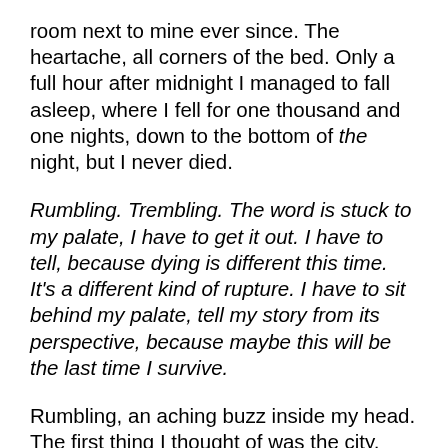room next to mine ever since. The heartache, all corners of the bed. Only a full hour after midnight I managed to fall asleep, where I fell for one thousand and one nights, down to the bottom of the night, but I never died.
Rumbling. Trembling. The word is stuck to my palate, I have to get it out. I have to tell, because dying is different this time. It's a different kind of rupture. I have to sit behind my palate, tell my story from its perspective, because maybe this will be the last time I survive.
Rumbling, an aching buzz inside my head. The first thing I thought of was the city, and its hectic buzz. I held my blanket tight, everything around was going to disappear soon and I was going to be saved. That's what I hoped for at least, but the buzz grew louder and stronger, it was somewhat funny how my